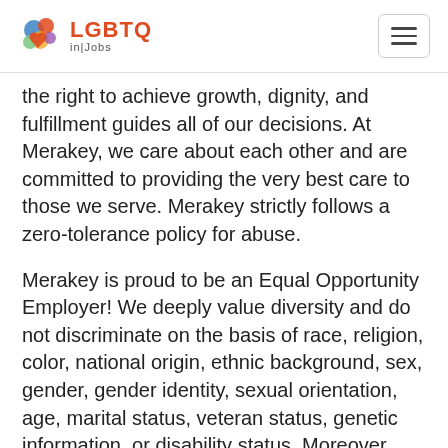LGBTQ in|Jobs
the right to achieve growth, dignity, and fulfillment guides all of our decisions. At Merakey, we care about each other and are committed to providing the very best care to those we serve. Merakey strictly follows a zero-tolerance policy for abuse.
Merakey is proud to be an Equal Opportunity Employer! We deeply value diversity and do not discriminate on the basis of race, religion, color, national origin, ethnic background, sex, gender, gender identity, sexual orientation, age, marital status, veteran status, genetic information, or disability status. Moreover,